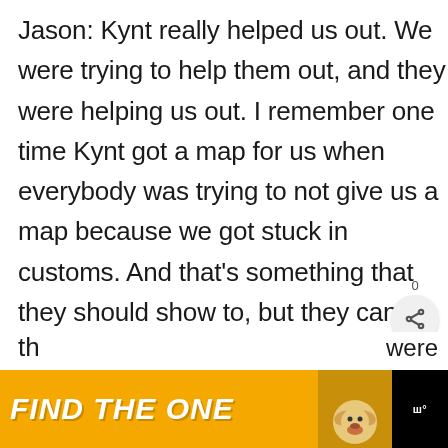Jason: Kynt really helped us out. We were trying to help them out, and they were helping us out. I remember one time Kynt got a map for us when everybody was trying to not give us a map because we got stuck in customs. And that's something that they should show to, but they can't. So many custom problems. We liked everybody, you know? Nate and Je... TK and Rachel, Kynt and Vyxsin, they were the ones we hung out with the most and... was sad for us to go but I think they were glad the...
[Figure (screenshot): Share button overlay with count 0 and a share icon (arrow branching right)]
[Figure (screenshot): What's Next panel showing a swimmer thumbnail and text 'Everything You Need to...']
[Figure (other): Advertisement banner: 'FIND THE ONE' in bold italic white text on orange background with a dog photo and dark section on right]